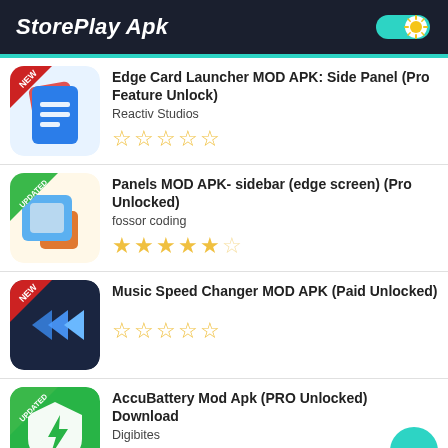StorePlay Apk
Edge Card Launcher MOD APK: Side Panel (Pro Feature Unlock)
Reactiv Studios
☆☆☆☆☆
Panels MOD APK- sidebar (edge screen) (Pro Unlocked)
fossor coding
★★★★★½
Music Speed Changer MOD APK (Paid Unlocked)
☆☆☆☆☆
AccuBattery Mod Apk (PRO Unlocked) Download
Digibites
★★★★★